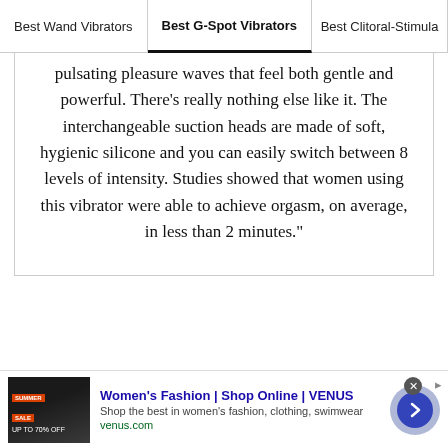Best Wand Vibrators | Best G-Spot Vibrators | Best Clitoral-Stimula
pulsating pleasure waves that feel both gentle and powerful. There's really nothing else like it. The interchangeable suction heads are made of soft, hygienic silicone and you can easily switch between 8 levels of intensity. Studies showed that women using this vibrator were able to achieve orgasm, on average, in less than 2 minutes."
[Figure (screenshot): Advertisement banner for Women's Fashion | Shop Online | VENUS. Shows a thumbnail image with SUMMER SALE badge, ad title 'Women's Fashion | Shop Online | VENUS', description 'Shop the best in women's fashion, clothing, swimwear', URL 'venus.com', and a circular arrow button.]